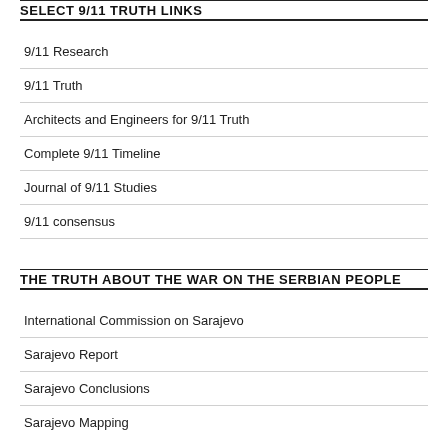SELECT 9/11 TRUTH LINKS
9/11 Research
9/11 Truth
Architects and Engineers for 9/11 Truth
Complete 9/11 Timeline
Journal of 9/11 Studies
9/11 consensus
THE TRUTH ABOUT THE WAR ON THE SERBIAN PEOPLE
International Commission on Sarajevo
Sarajevo Report
Sarajevo Conclusions
Sarajevo Mapping